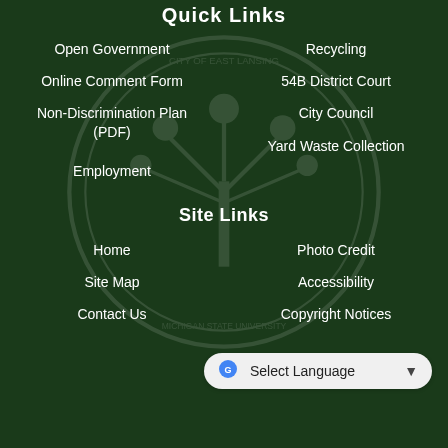Quick Links
Open Government
Recycling
Online Comment Form
54B District Court
Non-Discrimination Plan (PDF)
City Council
Yard Waste Collection
Employment
Site Links
Home
Photo Credit
Site Map
Accessibility
Contact Us
Copyright Notices
Select Language